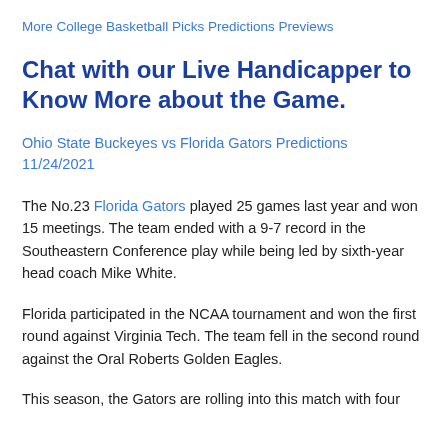More College Basketball Picks Predictions Previews
Chat with our Live Handicapper to Know More about the Game.
Ohio State Buckeyes vs Florida Gators Predictions 11/24/2021
The No.23 Florida Gators played 25 games last year and won 15 meetings. The team ended with a 9-7 record in the Southeastern Conference play while being led by sixth-year head coach Mike White.
Florida participated in the NCAA tournament and won the first round against Virginia Tech. The team fell in the second round against the Oral Roberts Golden Eagles.
This season, the Gators are rolling into this match with four